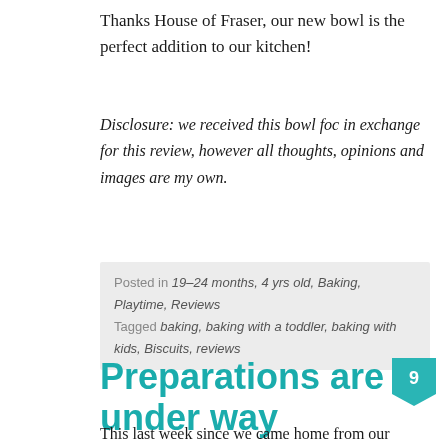Thanks House of Fraser, our new bowl is the perfect addition to our kitchen!
Disclosure: we received this bowl foc in exchange for this review, however all thoughts, opinions and images are my own.
Posted in 19-24 months, 4 yrs old, Baking, Playtime, Reviews
Tagged baking, baking with a toddler, baking with kids, Biscuits, reviews
Preparations are under way 9
This last week since we came home from our lovely holiday has been all about preparations